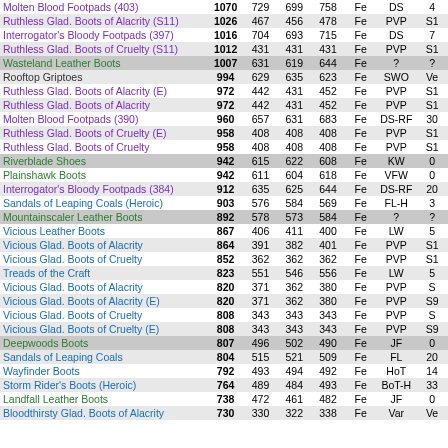| Name | Score | Col3 | Col4 | Col5 | Armor | Source | Extra |
| --- | --- | --- | --- | --- | --- | --- | --- |
| Molten Blood Footpads (403) | 1070 | 729 | 699 | 758 | Fe | DS | 4 |
| Ruthless Glad. Boots of Alacrity (S11) | 1026 | 467 | 456 | 478 | Fe | PVP | S1 |
| Interrogator's Bloody Footpads (397) | 1016 | 704 | 693 | 715 | Fe | DS | 7 |
| Ruthless Glad. Boots of Cruelty (S11) | 1012 | 431 | 431 | 431 | Fe | PVP | S1 |
| Wasteland Leather Boots | 1007 | 631 | 619 | 644 | Fe | ? | ? |
| Rooftop Griptoes | 994 | 629 | 635 | 623 | Fe | SWO | Ve |
| Ruthless Glad. Boots of Alacrity (E) | 972 | 442 | 431 | 452 | Fe | PVP | S1 |
| Ruthless Glad. Boots of Alacrity | 972 | 442 | 431 | 452 | Fe | PVP | S1 |
| Molten Blood Footpads (390) | 960 | 657 | 631 | 683 | Fe | DS-RF | 30 |
| Ruthless Glad. Boots of Cruelty (E) | 958 | 408 | 408 | 408 | Fe | PVP | S1 |
| Ruthless Glad. Boots of Cruelty | 958 | 408 | 408 | 408 | Fe | PVP | S1 |
| Riverblade Shoes | 942 | 615 | 622 | 608 | Fe | KW | 0 |
| Plainshawk Boots | 942 | 611 | 604 | 618 | Fe | VFW | 0 |
| Interrogator's Bloody Footpads (384) | 912 | 635 | 625 | 644 | Fe | DS-RF | 20 |
| Sandals of Leaping Coals (Heroic) | 903 | 576 | 584 | 569 | Fe | FL-H | 3 |
| Mountainscaler Leather Boots | 892 | 578 | 573 | 584 | Fe | ? | ? |
| Vicious Leather Boots | 867 | 406 | 411 | 400 | Fe | LW | 5 |
| Vicious Glad. Boots of Alacrity | 864 | 391 | 382 | 401 | Fe | PVP | S1 |
| Vicious Glad. Boots of Cruelty | 852 | 362 | 362 | 362 | Fe | PVP | S1 |
| Treads of the Craft | 823 | 551 | 546 | 556 | Fe | LW | 5 |
| Vicious Glad. Boots of Alacrity | 820 | 371 | 362 | 380 | Fe | PVP | S |
| Vicious Glad. Boots of Alacrity (E) | 820 | 371 | 362 | 380 | Fe | PVP | S9 |
| Vicious Glad. Boots of Cruelty | 808 | 343 | 343 | 343 | Fe | PVP | S |
| Vicious Glad. Boots of Cruelty (E) | 808 | 343 | 343 | 343 | Fe | PVP | S9 |
| Deepwoods Boots | 807 | 496 | 502 | 490 | Fe | JF | 0 |
| Sandals of Leaping Coals | 804 | 515 | 521 | 509 | Fe | FL | 20 |
| Wayfinder Boots | 792 | 493 | 494 | 492 | Fe | HoT | 14 |
| Storm Rider's Boots (Heroic) | 764 | 489 | 484 | 493 | Fe | BoT-H | 33 |
| Landfall Leather Boots | 738 | 472 | 461 | 482 | Fe | JF | 0 |
| Bloodthirsty Glad. Boots of Alacrity | 730 | 330 | 322 | 338 | Fe | Var | Ve |